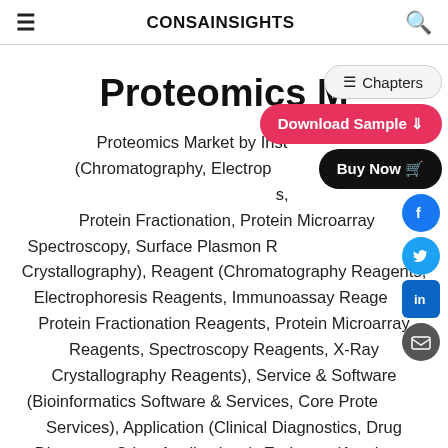CONSAINSIGHTS
Proteomics M[arket]
Proteomics Market by Instrument (Chromatography, Electrophoresis, Mass Spectrometers, Protein Fractionation, Protein Microarrays, Spectroscopy, Surface Plasmon Resonance, X-Ray Crystallography), Reagent (Chromatography Reagents, Electrophoresis Reagents, Immunoassay Reagents, Protein Fractionation Reagents, Protein Microarray Reagents, Spectroscopy Reagents, X-Ray Crystallography Reagents), Service & Software (Bioinformatics Software & Services, Core Proteomics Services), Application (Clinical Diagnostics, Drug Discovery, Other Applications), End-user (Academic Research Laboratories, Clinical Laboratories, Hospitals,